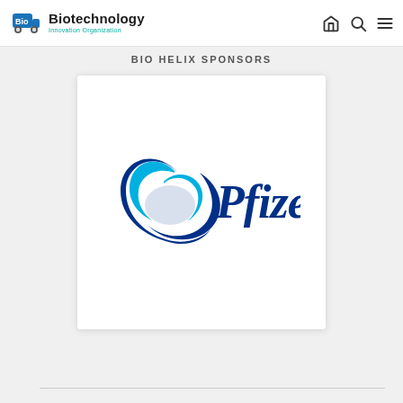Biotechnology Innovation Organization
BIO HELIX SPONSORS
[Figure (logo): Pfizer company logo — blue oval ribbon mark with 'Pfizer' wordmark in dark blue italic serif font]